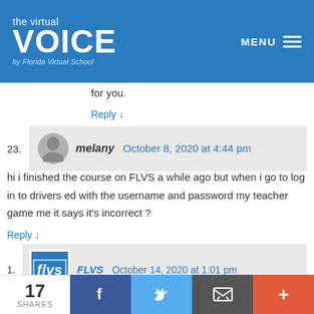[Figure (screenshot): The Virtual VOICE by Florida Virtual School header logo on blue background with MENU button]
for you.
Reply ↓
23. melany   October 8, 2020 at 4:44 pm
hi i finished the course on FLVS a while ago but when i go to log in to drivers ed with the username and password my teacher game me it says it's incorrect ?
Reply ↓
1. FLVS   October 14, 2020 at 1:01 pm
Hi Melany, You can reach out to your teacher or
17 SHARES  [Facebook] [Twitter] [Email] [More]